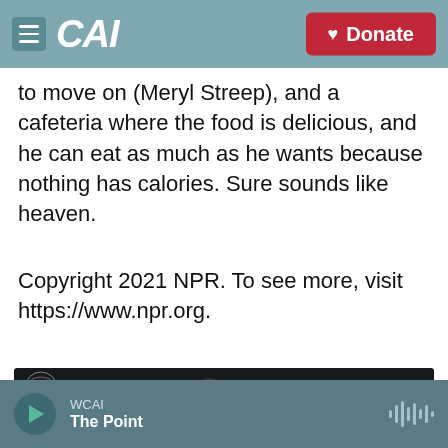CAI — Donate
to move on (Meryl Streep), and a cafeteria where the food is delicious, and he can eat as much as he wants because nothing has calories. Sure sounds like heaven.
Copyright 2021 NPR. To see more, visit https://www.npr.org.
[Figure (screenshot): YouTube video embed showing 'Defending Your Life - Trailer 1' with Warner Bros logo, video thumbnail with people seated, and red YouTube play button in the center]
WCAI — The Point (audio player bar)